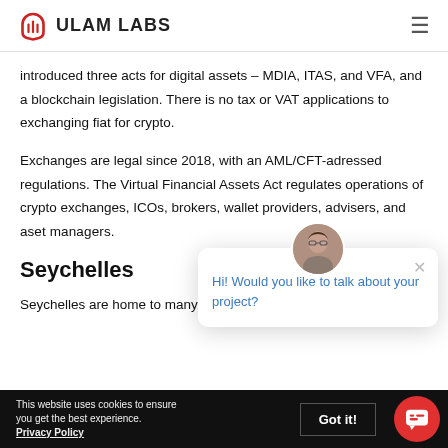ULAM LABS
introduced three acts for digital assets – MDIA, ITAS, and VFA, and a blockchain legislation. There is no tax or VAT applications to exchanging fiat for crypto.
Exchanges are legal since 2018, with an AML/CFT-adressed regulations. The Virtual Financial Assets Act regulates operations of crypto exchanges, ICOs, brokers, wallet providers, advisers, and asset managers.
Seychelles
Seychelles are home to many crypto exchanges, however
[Figure (other): Chat popup with avatar photo of a woman with glasses, close button, and text: Hi! Would you like to talk about your project?]
This website uses cookies to ensure you get the best experience. Privacy Policy  Got it!